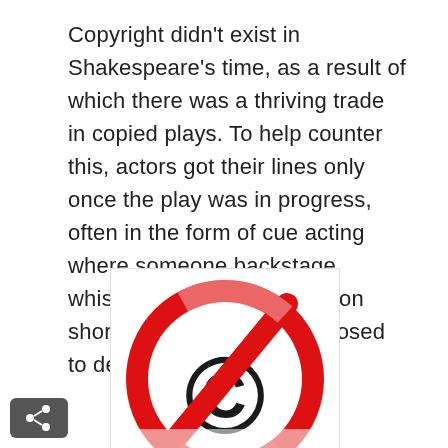Copyright didn't exist in Shakespeare's time, as a result of which there was a thriving trade in copied plays. To help counter this, actors got their lines only once the play was in progress, often in the form of cue acting where someone backstage whispered them to the person shortly before he was supposed to deliver them.
[Figure (illustration): A no-copyright symbol: a bold red circle with a diagonal red slash across a black copyright symbol (©), indicating no copyright. The bottom portion of the symbol fades into lighter/pink tones as it extends beyond the visible frame.]